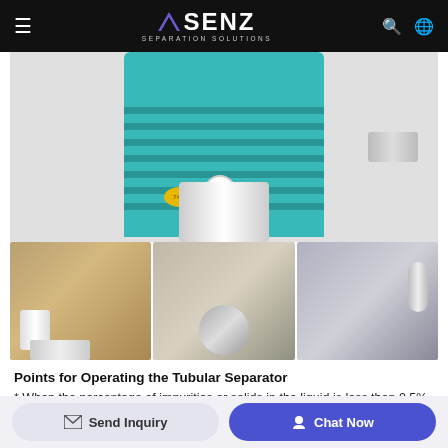SENZ SEPARATION SOLUTIONS
[Figure (photo): Tubular separator machine showing teal/cyan motor body with fins at top, stainless steel lower section with outlet nozzle. Three smaller photos below showing close-up views of the separator base and fittings from different angles.]
Points for Operating the Tubular Separator
* When the percentage of impurities or solids in the liquid is less than 0.5%, the ideal separation effect will be realized. If the percentage is higher than 0.5%, the solution should be clarified first
Send Inquiry | Chat Now